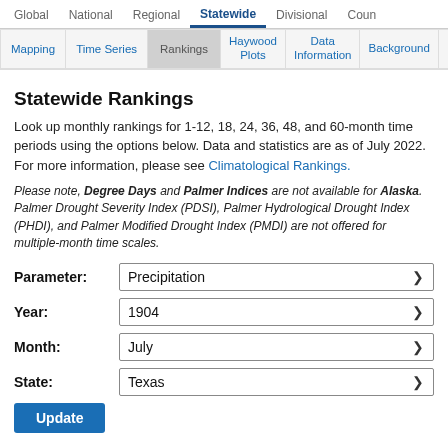Global | National | Regional | Statewide (active) | Divisional | Country
Mapping | Time Series | Rankings (active) | Haywood Plots | Data Information | Background
Statewide Rankings
Look up monthly rankings for 1-12, 18, 24, 36, 48, and 60-month time periods using the options below. Data and statistics are as of July 2022. For more information, please see Climatological Rankings.
Please note, Degree Days and Palmer Indices are not available for Alaska. Palmer Drought Severity Index (PDSI), Palmer Hydrological Drought Index (PHDI), and Palmer Modified Drought Index (PMDI) are not offered for multiple-month time scales.
Parameter: Precipitation
Year: 1904
Month: July
State: Texas
Update